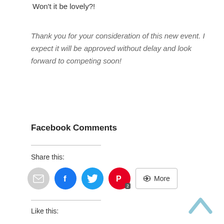Won't it be lovely?!
Thank you for your consideration of this new event. I expect it will be approved without delay and look forward to competing soon!
Facebook Comments
Share this:
[Figure (infographic): Social share buttons: email (gray circle), Facebook (blue circle), Twitter (cyan circle), Pinterest (red circle with badge '2'), and a More button with share icon]
Like this:
[Figure (other): Up arrow chevron icon in light blue, top-right corner]